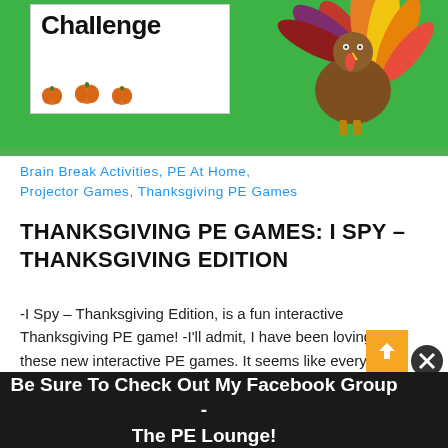[Figure (illustration): Thanksgiving PE game banner with a turkey illustration on green background, white card showing 'Challenge' text, and pumpkins]
Brain Break Activities, PE At Home, Projector Games, Thanksgiving PE Games
THANKSGIVING PE GAMES: I SPY – THANKSGIVING EDITION
-I Spy – Thanksgiving Edition, is a fun interactive Thanksgiving PE game! -I'll admit, I have been loving all of these new interactive PE games. It seems like every week there are new ones being shared and the
Be Sure To Check Out My Facebook Group - The PE Lounge!